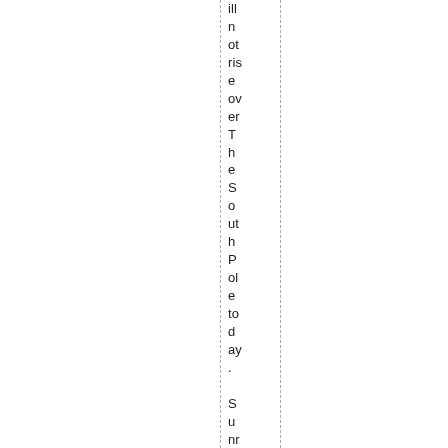ill not rise over The South Pole today.  Sunrise and